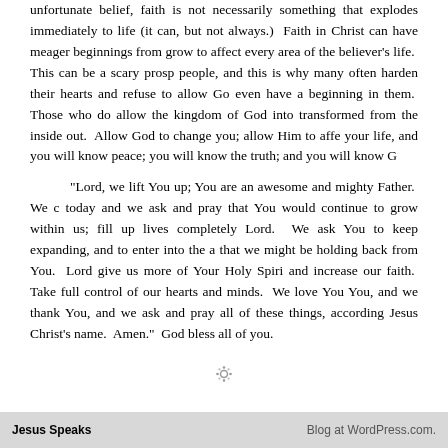unfortunate belief, faith is not necessarily something that explodes immediately to life (it can, but not always.) Faith in Christ can have meager beginnings from grow to affect every area of the believer's life. This can be a scary prospect people, and this is why many often harden their hearts and refuse to allow God even have a beginning in them. Those who do allow the kingdom of God into transformed from the inside out. Allow God to change you; allow Him to affect your life, and you will know peace; you will know the truth; and you will know God
“Lord, we lift You up; You are an awesome and mighty Father. We come today and we ask and pray that You would continue to grow within us; fill up our lives completely Lord. We ask You to keep expanding, and to enter into the areas that we might be holding back from You. Lord give us more of Your Holy Spirit; and increase our faith. Take full control of our hearts and minds. We love You, You, and we thank You, and we ask and pray all of these things, according to Jesus Christ’s name. Amen.” God bless all of you.
[Figure (other): Loading spinner icon (gear/cog animation indicator)]
Jesus Speaks    Blog at WordPress.com.